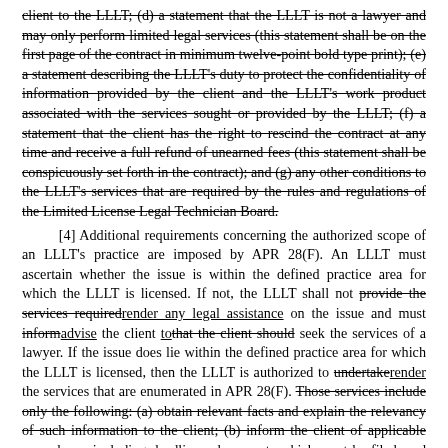client to the LLLT; (d) a statement that the LLLT is not a lawyer and may only perform limited legal services (this statement shall be on the first page of the contract in minimum twelve-point bold type print); (e) a statement describing the LLLT's duty to protect the confidentiality of information provided by the client and the LLLT's work product associated with the services sought or provided by the LLLT; (f) a statement that the client has the right to rescind the contract at any time and receive a full refund of unearned fees (this statement shall be conspicuously set forth in the contract); and (g) any other conditions to the LLLT's services that are required by the rules and regulations of the Limited License Legal Technician Board.
[4] Additional requirements concerning the authorized scope of an LLLT's practice are imposed by APR 28(F). An LLLT must ascertain whether the issue is within the defined practice area for which the LLLT is licensed. If not, the LLLT shall not [strikethrough: provide the services required][underline: render any legal assistance] on the issue and must [strikethrough: inform][underline: advise] the client [underline: to][strikethrough: that the client should] seek the services of a lawyer. If the issue does lie within the defined practice area for which the LLLT is licensed, then the LLLT is authorized to [strikethrough: undertake][underline: render] the services that are enumerated in APR 28(F). [strikethrough: Those services include only the following: (a) obtain relevant facts and explain the relevancy of such information to the client; (b) inform the client of applicable procedures, including deadlines, documents which must be filed, and the anticipated...]